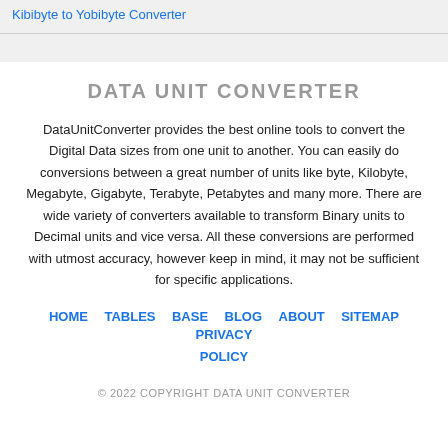Kibibyte to Yobibyte Converter
DATA UNIT CONVERTER
DataUnitConverter provides the best online tools to convert the Digital Data sizes from one unit to another. You can easily do conversions between a great number of units like byte, Kilobyte, Megabyte, Gigabyte, Terabyte, Petabytes and many more. There are wide variety of converters available to transform Binary units to Decimal units and vice versa. All these conversions are performed with utmost accuracy, however keep in mind, it may not be sufficient for specific applications.
HOME
TABLES
BASE
BLOG
ABOUT
SITEMAP
PRIVACY POLICY
© 2022 COPYRIGHT DATA UNIT CONVERTER